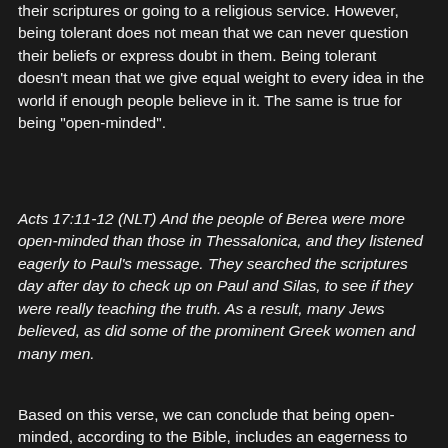their scriptures or going to a religious service. However, being tolerant does not mean that we can never question their beliefs or express doubt in them. Being tolerant doesn't mean that we give equal weight to every idea in the world if enough people believe in it. The same is true for being "open-minded".
Acts 17:11-12 (NLT) And the people of Berea were more open-minded than those in Thessalonica, and they listened eagerly to Paul's message. They searched the scriptures day after day to check up on Paul and Silas, to see if they were really teaching the truth. As a result, many Jews believed, as did some of the prominent Greek women and many men.
Based on this verse, we can conclude that being open-minded, according to the Bible, includes an eagerness to